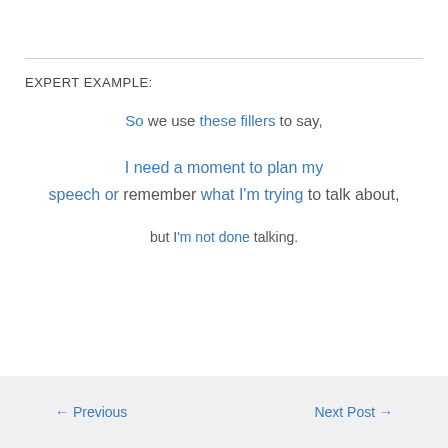EXPERT EXAMPLE:
So we use these fillers to say, I need a moment to plan my speech or remember what I'm trying to talk about, but I'm not done talking.
← Previous    Next Post →